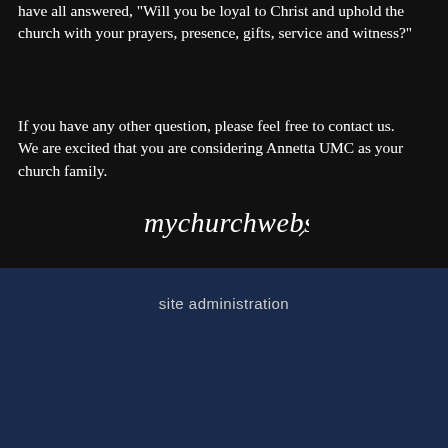have all answered, "Will you be loyal to Christ and uphold the church with your prayers, presence, gifts, service and witness?"
If you have any other question, please feel free to contact us. We are excited that you are considering Annetta UMC as your church family.
[Figure (logo): mychurchwebsite.net logo in cursive/script white text on dark background]
site administration